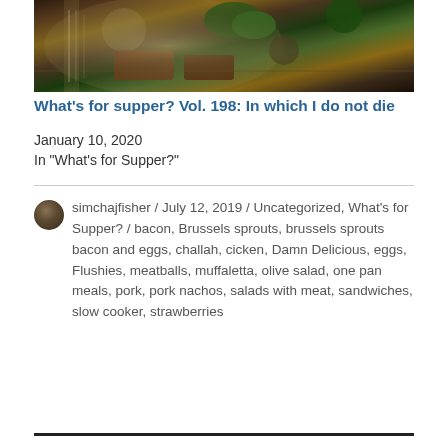[Figure (photo): Food photo showing a plate with cooked dish including broccoli, meat, and other ingredients viewed from above]
What's for supper? Vol. 198: In which I do not die
January 10, 2020
In "What's for Supper?"
simchajfisher / July 12, 2019 / Uncategorized, What's for Supper? / bacon, Brussels sprouts, brussels sprouts bacon and eggs, challah, cicken, Damn Delicious, eggs, Flushies, meatballs, muffaletta, olive salad, one pan meals, pork, pork nachos, salads with meat, sandwiches, slow cooker, strawberries